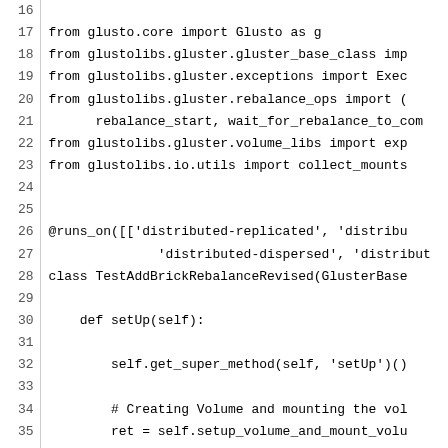Code listing lines 16-45, Python source file showing imports and class definition with setUp and tearDown methods